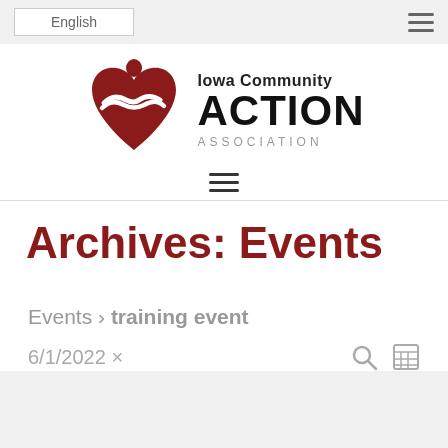English  ☰
[Figure (logo): Iowa Community Action Association logo — red heart with white hands embracing, next to bold text reading Iowa Community ACTION ASSOCIATION]
Archives: Events
Events › training event
6/1/2022 ×